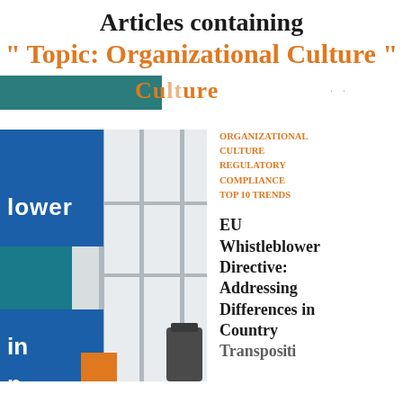Articles containing
" Topic: Organizational Culture "
[Figure (illustration): Cropped banner showing partial text 'Culture' in orange on teal background with dots]
[Figure (photo): Office interior photo with blue overlay panels showing partial text 'blower', 'in', 'n' in white on blue background, with orange accent at bottom right]
ORGANIZATIONAL CULTURE
REGULATORY COMPLIANCE
TOP 10 TRENDS
EU Whistleblower Directive: Addressing Differences in Country Transposition